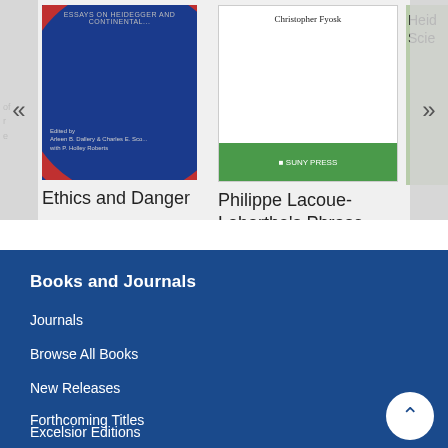[Figure (screenshot): Book carousel showing partial left book, 'Ethics and Danger' book cover (blue with red arc), 'Philippe Lacoue-Labarthe's Phrase' book cover (white with green band), and partial right book (green). Navigation arrows on left and right.]
Ethics and Danger
Philippe Lacoue-Labarthe's Phrase
Heid Scie
Books and Journals
Journals
Browse All Books
New Releases
Forthcoming Titles
Excelsior Editions
Browse by Subject